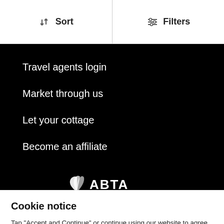Sort   Filters
Travel agents login
Market through us
Let your cottage
Become an affiliate
[Figure (logo): ABTA logo in white on black background]
Cookie notice
Tap "Accept and Continue" or continue using our website to agree to the use of cookies and data processing technologies. Cookies are used by us and our trusted partners to provide necessary website functionality, analyse, personalise and enhance your experience on this website as well as to deliver tailored holiday-related ads on other websites.
Accept and Continue